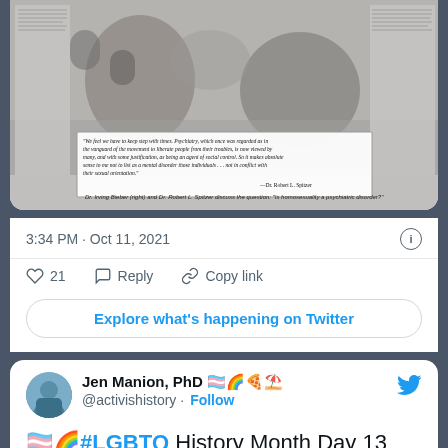[Figure (screenshot): Screenshot of a Twitter post showing a newspaper clipping image with Dr. Irving Bieber and Dr. Robert L. Spitzer discussing whether homosexuality is a psychiatric disorder, with a quote from Dr. Robert L. Spitzer]
3:34 PM · Oct 11, 2021
21 Reply Copy link
Explore what's happening on Twitter
Jen Manion, PhD 🏳️‍⚧️🌈🍕⛱️ @activishistory · Follow
🏳️‍⚧️🌈#LGBTQ History Month Day 13 honors Leslie Feinberg whose writings &